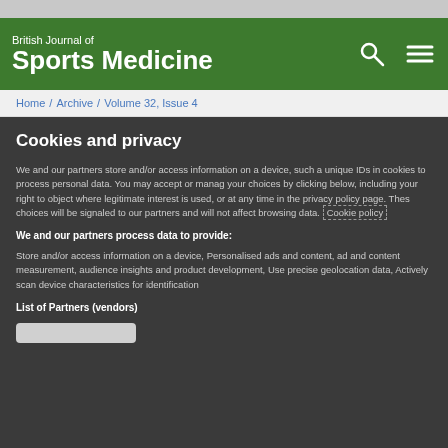British Journal of Sports Medicine
Home / Archive / Volume 32, Issue 4
Cookies and privacy
We and our partners store and/or access information on a device, such as unique IDs in cookies to process personal data. You may accept or manage your choices by clicking below, including your right to object where legitimate interest is used, or at any time in the privacy policy page. These choices will be signaled to our partners and will not affect browsing data. Cookie policy
We and our partners process data to provide:
Store and/or access information on a device, Personalised ads and content, ad and content measurement, audience insights and product development, Use precise geolocation data, Actively scan device characteristics for identification
List of Partners (vendors)